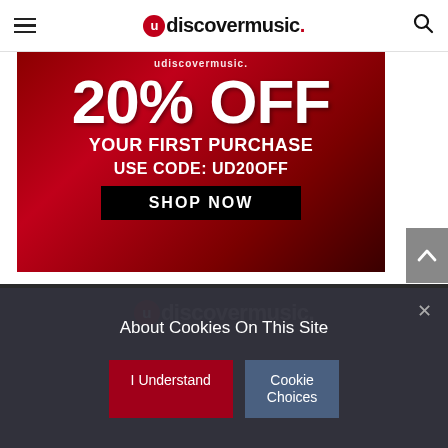udiscovermusic.
[Figure (infographic): Red promotional banner for uDiscoverMusic offering 20% OFF your first purchase. Use code: UD20OFF. Shop Now button in black.]
About Cookies On This Site
I Understand
Cookie Choices